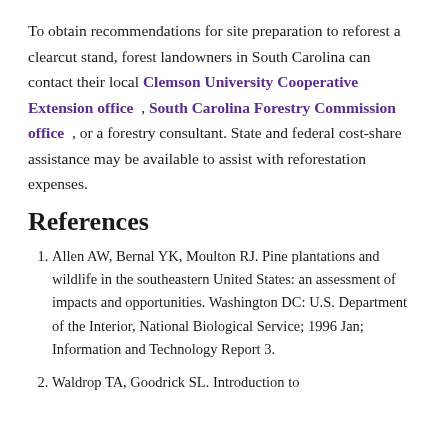To obtain recommendations for site preparation to reforest a clearcut stand, forest landowners in South Carolina can contact their local Clemson University Cooperative Extension office , South Carolina Forestry Commission office , or a forestry consultant. State and federal cost-share assistance may be available to assist with reforestation expenses.
References
1. Allen AW, Bernal YK, Moulton RJ. Pine plantations and wildlife in the southeastern United States: an assessment of impacts and opportunities. Washington DC: U.S. Department of the Interior, National Biological Service; 1996 Jan; Information and Technology Report 3.
2. Waldrop TA, Goodrick SL. Introduction to